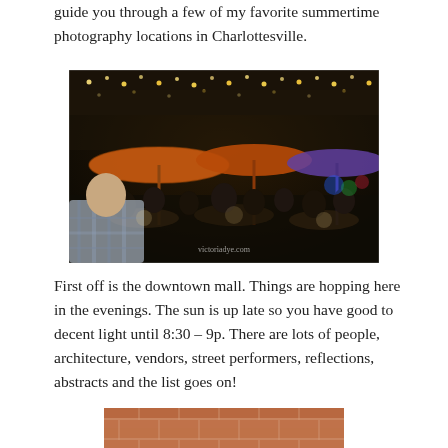guide you through a few of my favorite summertime photography locations in Charlottesville.
[Figure (photo): Outdoor dining scene at night on the downtown mall, with string lights, colorful patio umbrellas (orange, red, blue), diners seated at tables, and a man in a plaid shirt in the foreground. Watermark reads victoriadye.com.]
First off is the downtown mall. Things are hopping here in the evenings. The sun is up late so you have good to decent light until 8:30 – 9p. There are lots of people, architecture, vendors, street performers, reflections, abstracts and the list goes on!
[Figure (photo): Partial view of a brick building exterior, cropped at bottom of page.]